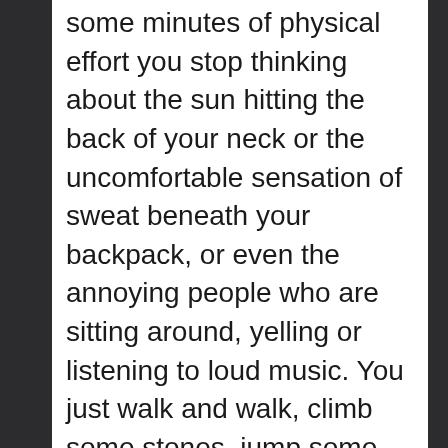some minutes of physical effort you stop thinking about the sun hitting the back of your neck or the uncomfortable sensation of sweat beneath your backpack, or even the annoying people who are sitting around, yelling or listening to loud music. You just walk and walk, climb some stones, jump some patches and there are less and less people to be seen around. It doesnt matter if you're with someone, hiking tends to become a solitary activity, in the